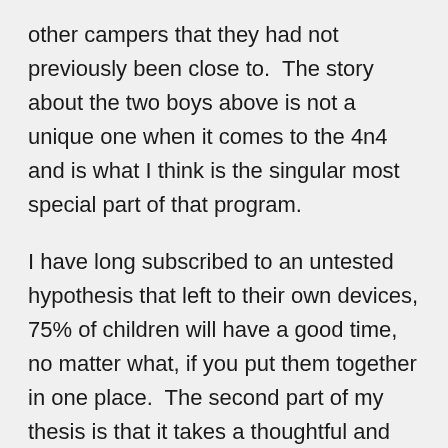other campers that they had not previously been close to.  The story about the two boys above is not a unique one when it comes to the 4n4 and is what I think is the singular most special part of that program.
I have long subscribed to an untested hypothesis that left to their own devices, 75% of children will have a good time, no matter what, if you put them together in one place.  The second part of my thesis is that it takes a thoughtful and intentional camp, or community, to make it a special experience for the other 25% of the